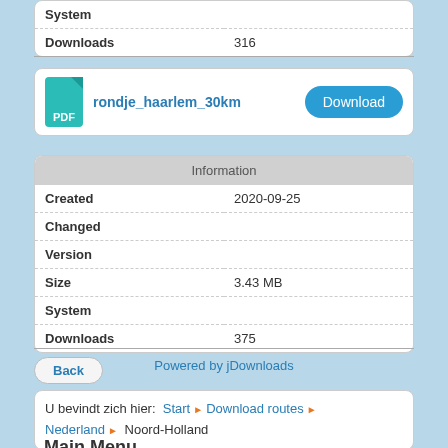|  |  |
| --- | --- |
| System |  |
| Downloads | 316 |
[Figure (other): PDF file icon (teal) with filename rondje_haarlem_30km and a Download button]
| Information |  |
| --- | --- |
| Created | 2020-09-25 |
| Changed |  |
| Version |  |
| Size | 3.43 MB |
| System |  |
| Downloads | 375 |
Back
Powered by jDownloads
U bevindt zich hier: Start ▶ Download routes ▶ Nederland ▶ Noord-Holland
Main Menu